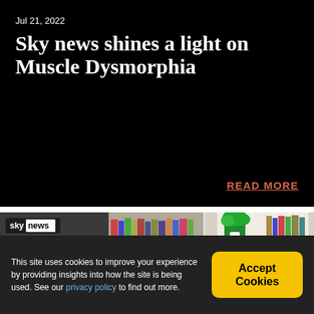Jul 21, 2022
Sky news shines a light on Muscle Dysmorphia
READ MORE
[Figure (screenshot): Sky News video thumbnail showing a man with grey hair in front of a bookshelf, with Sky News logo overlay. Split-screen showing a second panel with a plant and shelving.]
This site uses cookies to improve your experience by providing insights into how the site is being used. See our privacy policy to find out more.
Accept Cookies